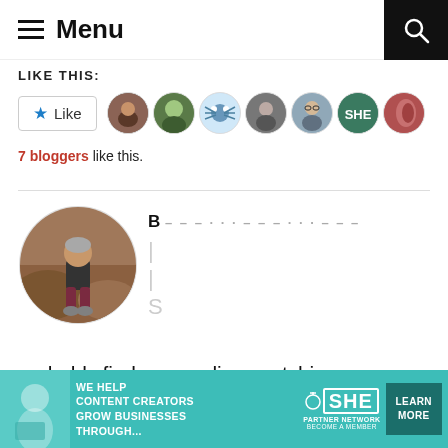≡ Menu
LIKE THIS:
[Figure (screenshot): Like button with star icon and 7 blogger avatars]
7 bloggers like this.
[Figure (photo): Circular profile photo of a person sitting on rocks in a canyon, wearing dark jacket and maroon pants]
probably find me reading, watching Forensic
Files or...
[Figure (screenshot): Advertisement banner: WE HELP CONTENT CREATORS GROW BUSINESSES THROUGH... SHE PARTNER NETWORK BECOME A MEMBER - LEARN MORE button]